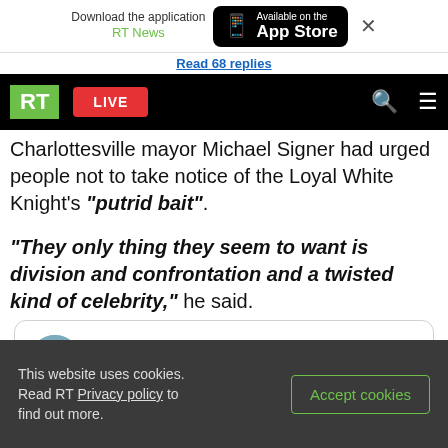[Figure (screenshot): App Store download banner with RT News text and Available on the App Store button and close X]
Read 68 replies
[Figure (screenshot): RT News navigation bar with green RT logo, red LIVE button, search icon, and hamburger menu icon]
Charlottesville mayor Michael Signer had urged people not to take notice of the Loyal White Knight's "putrid bait".
"They only thing they seem to want is division and confrontation and a twisted kind of celebrity," he said.
[Figure (screenshot): Tweet card showing Mike Signer with verified checkmark, @MikeSigner handle, Follow button, and Twitter bird icon]
This website uses cookies. Read RT Privacy policy to find out more.
Accept cookies